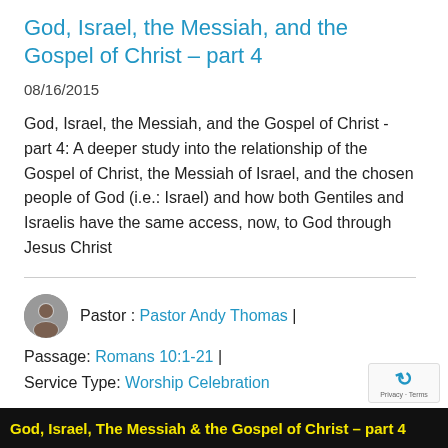God, Israel, the Messiah, and the Gospel of Christ – part 4
08/16/2015
God, Israel, the Messiah, and the Gospel of Christ - part 4: A deeper study into the relationship of the Gospel of Christ, the Messiah of Israel, and the chosen people of God (i.e.: Israel) and how both Gentiles and Israelis have the same access, now, to God through Jesus Christ
Pastor : Pastor Andy Thomas
Passage: Romans 10:1-21
Service Type: Worship Celebration
God, Israel, The Messiah & the Gospel of Christ – part 4